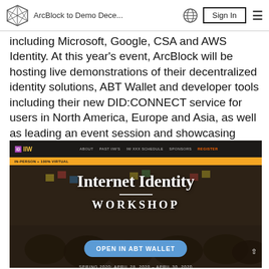ArcBlock to Demo Dece...
including Microsoft, Google, CSA and AWS Identity. At this year's event, ArcBlock will be hosting live demonstrations of their decentralized identity solutions, ABT Wallet and developer tools including their new DID:CONNECT service for users in North America, Europe and Asia, as well as leading an event session and showcasing ArcBlock's tools during the Identity Tech Sandbox event.
[Figure (screenshot): Screenshot of the Internet Identity Workshop (IIW) website showing the IIW logo and navigation bar with links: About, Past IIW's, IW XXX Schedule, Sponsors, Register. An orange bar below reads 'In-Person + 100% Virtual'. The hero section shows the text 'Internet Identity WORKSHOP' with a blue 'OPEN IN ABT WALLET' button and the date 'SPRING 2020: APRIL 28, 2020 – APRIL 30, 2020'.]